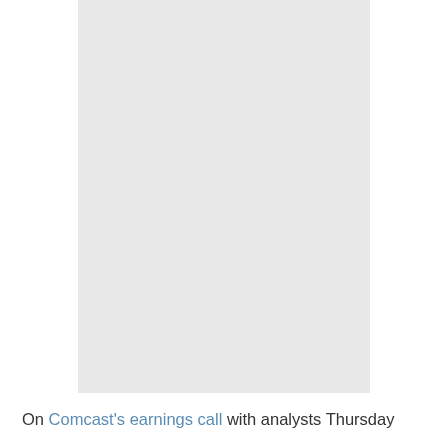[Figure (other): A large light gray rectangular image placeholder occupying the upper portion of the page.]
On Comcast's earnings call with analysts Thursday